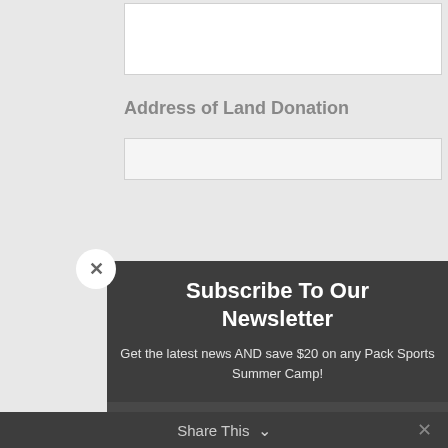[Figure (screenshot): White input box at top of form]
Address of Land Donation
[Figure (screenshot): Second white input box below address label]
[Figure (screenshot): Newsletter subscription modal popup with dark background, close button, title 'Subscribe To Our Newsletter', subtitle text, email input field, and orange SUBSCRIBE! button]
Subscribe To Our Newsletter
Get the latest news AND save $20 on any Pack Sports Summer Camp!
Email
SUBSCRIBE!
Share This  ∨